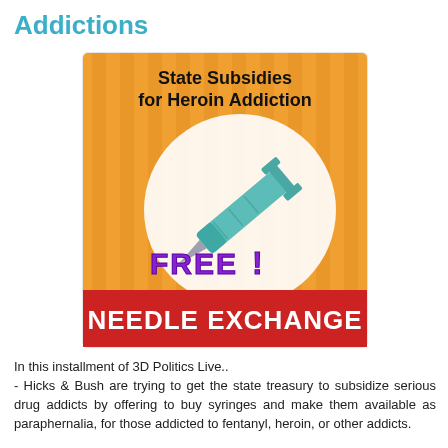Addictions
[Figure (illustration): Promotional-style graphic with orange striped background, a teal/cyan syringe in a white circle, purple bold text reading 'FREE !' and a red banner at the bottom with white text 'NEEDLE EXCHANGE'. Black bold text at top reads 'State Subsidies for Heroin Addiction'.]
In this installment of 3D Politics Live..
- Hicks & Bush are trying to get the state treasury to subsidize serious drug addicts by offering to buy syringes and make them available as paraphernalia, for those addicted to fentanyl, heroin, or other addicts.